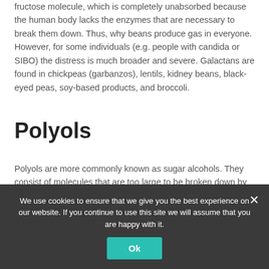fructose molecule, which is completely unabsorbed because the human body lacks the enzymes that are necessary to break them down. Thus, why beans produce gas in everyone. However, for some individuals (e.g. people with candida or SIBO) the distress is much broader and severe. Galactans are found in chickpeas (garbanzos), lentils, kidney beans, black-eyed peas, soy-based products, and broccoli.
Polyols
Polyols are more commonly known as sugar alcohols. They consist of molecules that are too large to be broken down by the small intestine by anyone and produce a laxative effect by
We use cookies to ensure that we give you the best experience on our website. If you continue to use this site we will assume that you are happy with it.